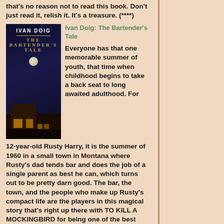that's no reason not to read this book. Don't just read it, relish it. It's a treasure. (****)
[Figure (illustration): Book cover of 'The Bartender's Tale' by Ivan Doig, showing a dark night scene with a moonlit bar building, gold title text on dark navy background]
Ivan Doig: The Bartender's Tale
Everyone has that one memorable summer of youth, that time when childhood begins to take a back seat to long awaited adulthood. For 12-year-old Rusty Harry, it is the summer of 1960 in a small town in Montana where Rusty's dad tends bar and does the job of a single parent as best he can, which turns out to be pretty darn good. The bar, the town, and the people who make up Rusty's compact life are the players in this magical story that's right up there with TO KILL A MOCKINGBIRD for being one of the best coming-of-age stories you'll ever read. (****)